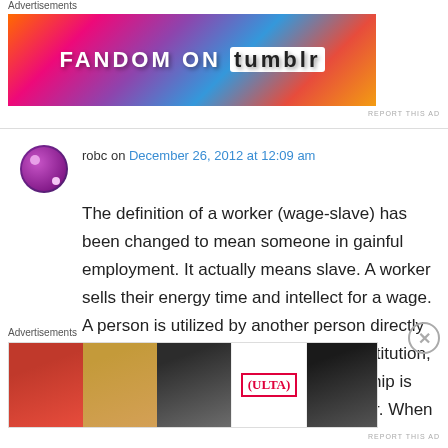Advertisements
[Figure (photo): Fandom on Tumblr advertisement banner with colorful gradient background]
robc on December 26, 2012 at 12:09 am
The definition of a worker (wage-slave) has been changed to mean someone in gainful employment. It actually means slave. A worker sells their energy time and intellect for a wage. A person is utilized by another person directly or by a chain of command within an institution, like a machine, or a slave. Self ownership is appropriated by the master or employer. When
Advertisements
[Figure (photo): ULTA beauty advertisement banner with makeup imagery and SHOP NOW call to action]